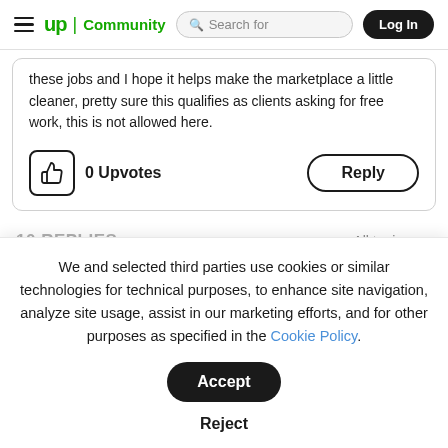≡ up | Community  🔍 Search for  Log In
these jobs and I hope it helps make the marketplace a little cleaner, pretty sure this qualifies as clients asking for free work, this is not allowed here.
0 Upvotes   Reply
10 REPLIES
All topics < >
We and selected third parties use cookies or similar technologies for technical purposes, to enhance site navigation, analyze site usage, assist in our marketing efforts, and for other purposes as specified in the Cookie Policy.
Accept  Reject